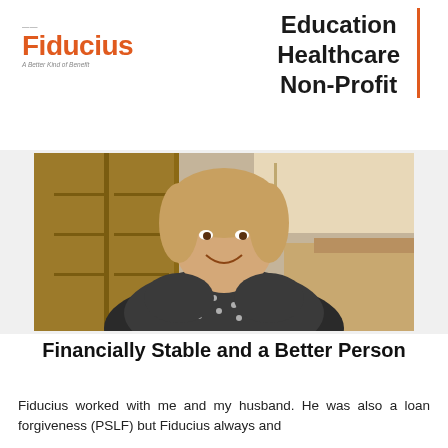[Figure (logo): Fiducius logo with orange text and tagline 'A Better Kind of Benefit']
Education
Healthcare
Non-Profit
[Figure (photo): Woman smiling, seated at a desk in an office environment, wearing a black and white patterned top]
Financially Stable and a Better Person
Fiducius worked with me and my husband. He was also a loan forgiveness (PSLF) but Fiducius always and